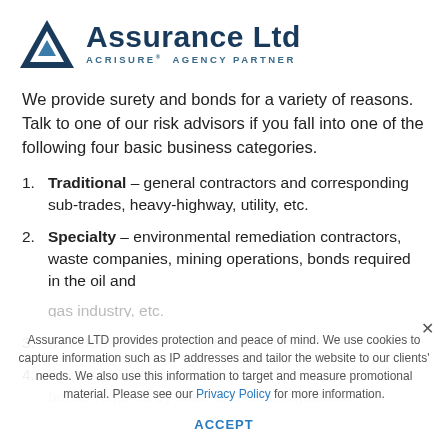[Figure (logo): Assurance Ltd logo: a blue triangular A-shaped icon on the left, with 'Assurance Ltd' in large dark navy bold text and 'ACRISURE® AGENCY PARTNER' in smaller spaced teal text below]
We provide surety and bonds for a variety of reasons. Talk to one of our risk advisors if you fall into one of the following four basic business categories.
Traditional – general contractors and corresponding sub-trades, heavy-highway, utility, etc.
Specialty – environmental remediation contractors, waste companies, mining operations, bonds required in the oil and gas industry, etc.
Assurance LTD provides protection and peace of mind. We use cookies to capture information such as IP addresses and tailor the website to our clients' needs. We also use this information to target and measure promotional material. Please see our Privacy Policy for more information.